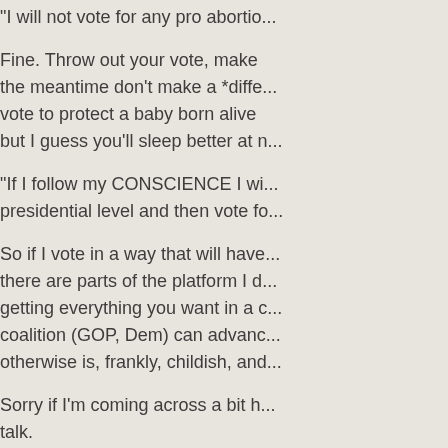"I will not vote for any pro abortio...
Fine. Throw out your vote, make... the meantime don't make a *diffe... vote to protect a baby born alive... but I guess you'll sleep better at n...
"If I follow my CONSCIENCE I wi... presidential level and then vote fo...
So if I vote in a way that will have... there are parts of the platform I d... getting everything you want in a c... coalition (GOP, Dem) can advanc... otherwise is, frankly, childish, and...
Sorry if I'm coming across a bit h... talk.
Good points, Paul. Crying becaus... supposed to be reserved for todo...